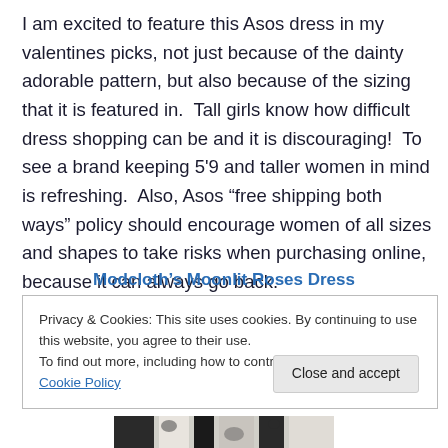I am excited to feature this Asos dress in my valentines picks, not just because of the dainty adorable pattern, but also because of the sizing that it is featured in.  Tall girls know how difficult dress shopping can be and it is discouraging!  To see a brand keeping 5'9 and taller women in mind is refreshing.  Also, Asos “free shipping both ways” policy should encourage women of all sizes and shapes to take risks when purchasing online, because it can always go back.
Modcloth’s Moonlit Roses Dress
Privacy & Cookies: This site uses cookies. By continuing to use this website, you agree to their use.
To find out more, including how to control cookies, see here: Cookie Policy
Close and accept
[Figure (photo): Bottom portion of a dress with a floral or patterned fabric, partially visible at the bottom of the page.]